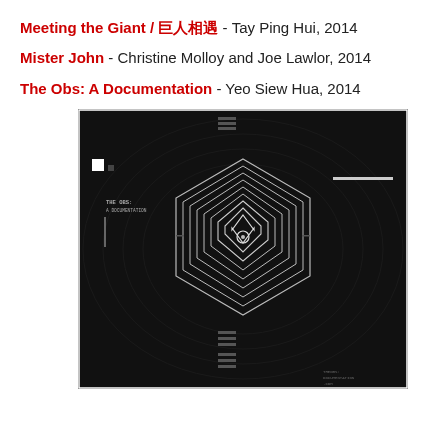Meeting the Giant / 巨人相遇 - Tay Ping Hui, 2014
Mister John - Christine Molloy and Joe Lawlor, 2014
The Obs: A Documentation - Yeo Siew Hua, 2014
[Figure (photo): Movie poster for 'The Obs: A Documentation' — dark/black background with concentric hexagon geometric pattern in white/grey lines centered on the poster, with 'THE OBS: A DOCUMENTATION' text in small white font upper left, and decorative UI-style elements (rectangles, dashes) around the edges.]